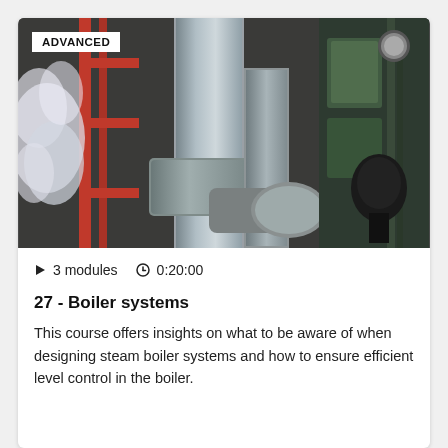[Figure (photo): Industrial boiler system with silver metal ducts/pipes, steam venting on the left, red metal framework, and black mechanical components on the right. The word ADVANCED appears in a white badge overlay at top-left.]
▶  3 modules   🕐  0:20:00
27 - Boiler systems
This course offers insights on what to be aware of when designing steam boiler systems and how to ensure efficient level control in the boiler.